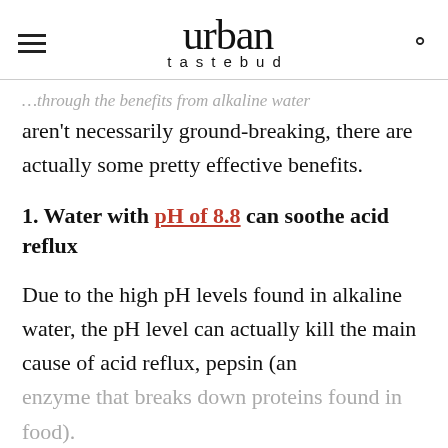urban tastebud
…though the benefits from alkaline water aren't necessarily ground-breaking, there are actually some pretty effective benefits.
1. Water with pH of 8.8 can soothe acid reflux
Due to the high pH levels found in alkaline water, the pH level can actually kill the main cause of acid reflux, pepsin (an enzyme that breaks down proteins found in food).